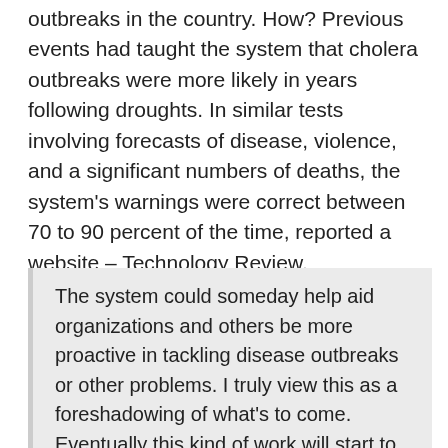outbreaks in the country. How? Previous events had taught the system that cholera outbreaks were more likely in years following droughts. In similar tests involving forecasts of disease, violence, and a significant numbers of deaths, the system's warnings were correct between 70 to 90 percent of the time, reported a website – Technology Review.
The system could someday help aid organizations and others be more proactive in tackling disease outbreaks or other problems. I truly view this as a foreshadowing of what's to come. Eventually this kind of work will start to have an influence on how things go for people", said